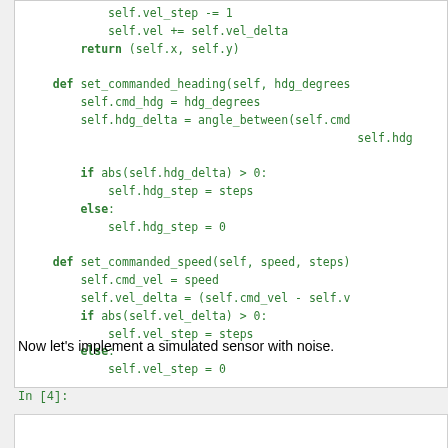self.vel_step -= 1
            self.vel += self.vel_delta
        return (self.x, self.y)

    def set_commanded_heading(self, hdg_degrees
        self.cmd_hdg = hdg_degrees
        self.hdg_delta = angle_between(self.cmd
                                                self.hdg

        if abs(self.hdg_delta) > 0:
            self.hdg_step = steps
        else:
            self.hdg_step = 0

    def set_commanded_speed(self, speed, steps)
        self.cmd_vel = speed
        self.vel_delta = (self.cmd_vel - self.v
        if abs(self.vel_delta) > 0:
            self.vel_step = steps
        else:
            self.vel_step = 0
Now let's implement a simulated sensor with noise.
In [4]: